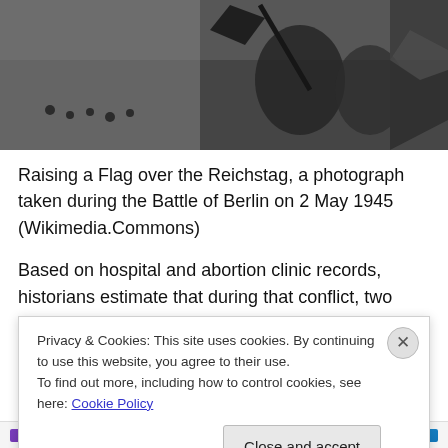[Figure (photo): Black and white historical photograph of soldiers raising a flag over the Reichstag during the Battle of Berlin, 1945. Shows figures climbing on rubble with a large flag being raised.]
Raising a Flag over the Reichstag, a photograph taken during the Battle of Berlin on 2 May 1945 (Wikimedia.Commons)
Based on hospital and abortion clinic records, historians estimate that during that conflict, two million German
Privacy & Cookies: This site uses cookies. By continuing to use this website, you agree to their use.
To find out more, including how to control cookies, see here: Cookie Policy